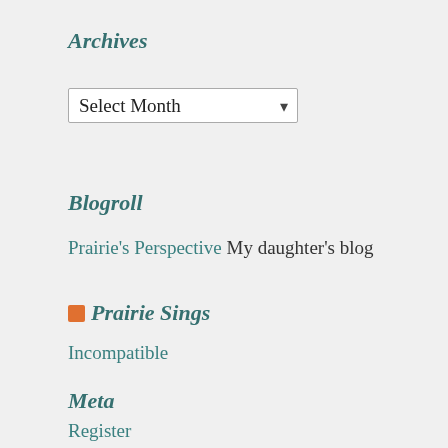Archives
Select Month (dropdown)
Blogroll
Prairie's Perspective My daughter's blog
Prairie Sings
Incompatible
Meta
Register
Log in